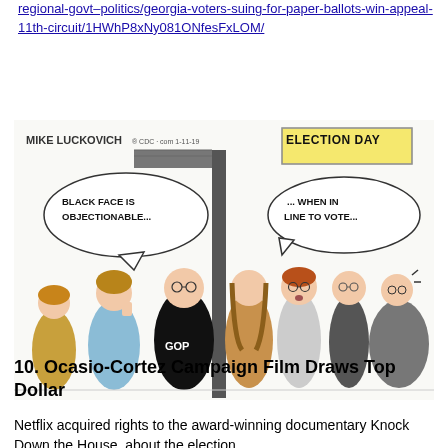regional-govt–politics/georgia-voters-suing-for-paper-ballots-win-appeal-11th-circuit/1HWhP8xNy081ONfesFxLOM/
[Figure (illustration): Political cartoon by Mike Luckovich showing a figure labeled GOP standing at a doorway marked 'ELECTION DAY'. On the left side, a speech bubble says 'BLACK FACE IS OBJECTIONABLE...' and on the right side a speech bubble says '... WHEN IN LINE TO VOTE...' with several voters standing in line.]
10. Ocasio-Cortez Campaign Film Draws Top Dollar
Netflix acquired rights to the award-winning documentary Knock Down the House, about the election